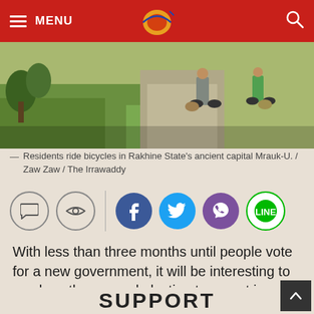MENU
[Figure (photo): Residents riding bicycles on a road in Rakhine State's ancient capital Mrauk-U, green landscape visible]
Residents ride bicycles in Rakhine State's ancient capital Mrauk-U. / Zaw Zaw / The Irrawaddy
[Figure (infographic): Social sharing icons: comment, eye/read, Facebook, Twitter, Viber, Line]
With less than three months until people vote for a new government, it will be interesting to see how the general election turns out in Rakhine State, which has been gripped by armed conflicts and rivalries between local parties.
SUPPORT